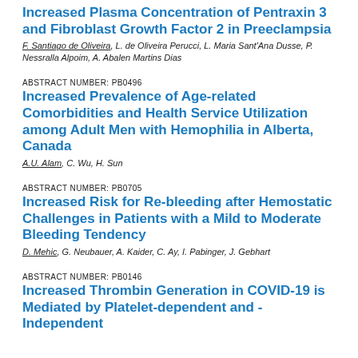Increased Plasma Concentration of Pentraxin 3 and Fibroblast Growth Factor 2 in Preeclampsia
F. Santiago de Oliveira, L. de Oliveira Perucci, L. Maria Sant'Ana Dusse, P. Nessralla Alpoim, A. Abalen Martins Dias
ABSTRACT NUMBER: PB0496
Increased Prevalence of Age-related Comorbidities and Health Service Utilization among Adult Men with Hemophilia in Alberta, Canada
A.U. Alam, C. Wu, H. Sun
ABSTRACT NUMBER: PB0705
Increased Risk for Re-bleeding after Hemostatic Challenges in Patients with a Mild to Moderate Bleeding Tendency
D. Mehic, G. Neubauer, A. Kaider, C. Ay, I. Pabinger, J. Gebhart
ABSTRACT NUMBER: PB0146
Increased Thrombin Generation in COVID-19 is Mediated by Platelet-dependent and -Independent